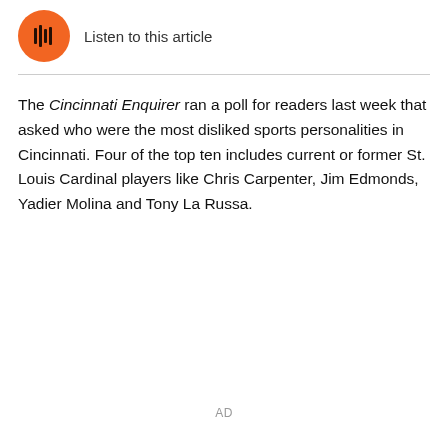[Figure (other): Orange circular play button with sound wave icon]
Listen to this article
The Cincinnati Enquirer ran a poll for readers last week that asked who were the most disliked sports personalities in Cincinnati. Four of the top ten includes current or former St. Louis Cardinal players like Chris Carpenter, Jim Edmonds, Yadier Molina and Tony La Russa.
AD